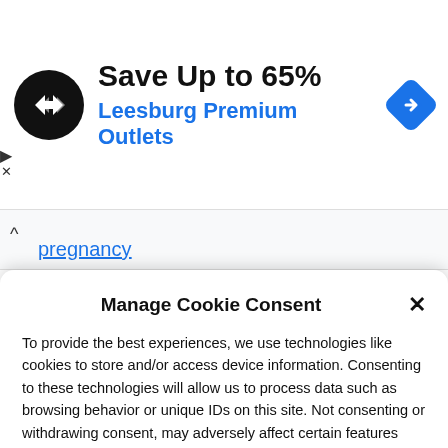[Figure (screenshot): Advertisement banner for Leesburg Premium Outlets showing a circular black logo with double arrow symbol, text 'Save Up to 65%' in bold black and 'Leesburg Premium Outlets' in blue, and a blue diamond navigation icon on the right. Small play and X close buttons on the left edge.]
pregnancy
Manage Cookie Consent
To provide the best experiences, we use technologies like cookies to store and/or access device information. Consenting to these technologies will allow us to process data such as browsing behavior or unique IDs on this site. Not consenting or withdrawing consent, may adversely affect certain features and functions.
Accept
Cookie Policy